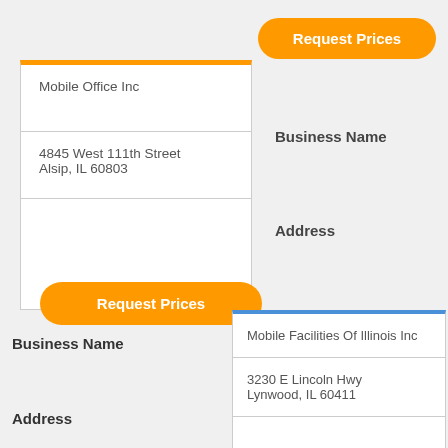[Figure (screenshot): Orange Request Prices button (top right)]
| Mobile Office Inc |
| 4845 West 111th Street
Alsip, IL 60803 |
|  |
Business Name
Address
Provider Quote
[Figure (screenshot): Orange Request Prices button (bottom left)]
Business Name
Address
| Mobile Facilities Of Illinois Inc |
| 3230 E Lincoln Hwy
Lynwood, IL 60411 |